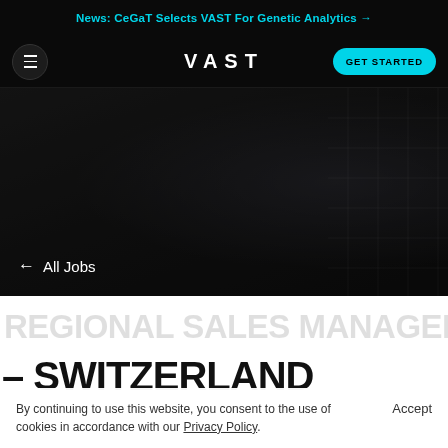News: CeGaT Selects VAST For Genetic Analytics →
[Figure (screenshot): VAST company website navigation bar with hamburger menu, VAST logo, and GET STARTED button on dark background]
[Figure (screenshot): Dark hero image area with arrow back link '← All Jobs']
← All Jobs
REGIONAL SALES MANAGER – SWITZERLAND
By continuing to use this website, you consent to the use of cookies in accordance with our Privacy Policy.
Accept